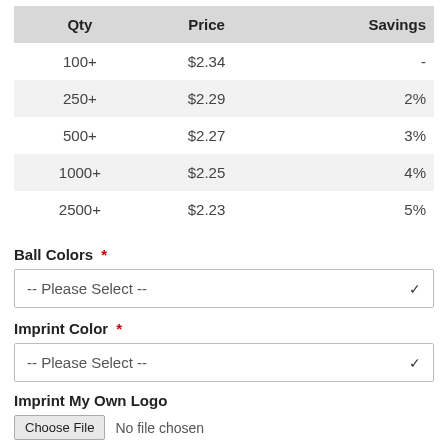| Qty | Price | Savings |
| --- | --- | --- |
| 100+ | $2.34 | - |
| 250+ | $2.29 | 2% |
| 500+ | $2.27 | 3% |
| 1000+ | $2.25 | 4% |
| 2500+ | $2.23 | 5% |
Ball Colors *
-- Please Select --
Imprint Color *
-- Please Select --
Imprint My Own Logo
Choose File  No file chosen